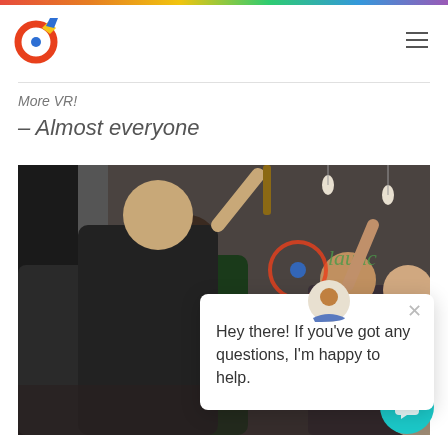More VR!
– Almost everyone
[Figure (photo): Group of people at a party/event celebrating with drinks raised, in a venue with pendant lights and a company logo banner visible in the background.]
Hey there! If you've got any questions, I'm happy to help.